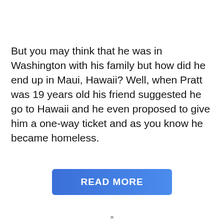But you may think that he was in Washington with his family but how did he end up in Maui, Hawaii? Well, when Pratt was 19 years old his friend suggested he go to Hawaii and he even proposed to give him a one-way ticket and as you know he became homeless.
[Figure (other): A blue gradient button partially visible at the bottom of the page, showing the text READ MORE in white bold letters.]
×